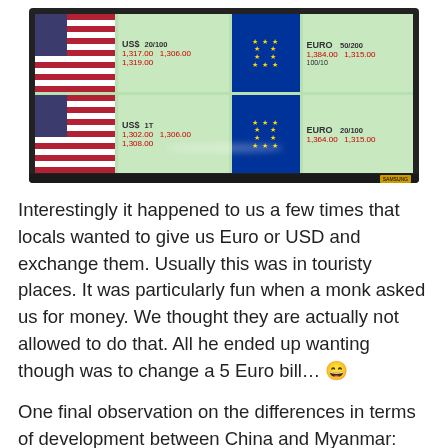[Figure (photo): Photo of a currency exchange display screen showing USD and EURO exchange rates on a green background, with American and EU flags visible.]
Interestingly it happened to us a few times that locals wanted to give us Euro or USD and exchange them. Usually this was in touristy places. It was particularly fun when a monk asked us for money. We thought they are actually not allowed to do that. All he ended up wanting though was to change a 5 Euro bill… 😄
One final observation on the differences in terms of development between China and Myanmar: The close to cashless society in China (see our post here) is still many, many years away from